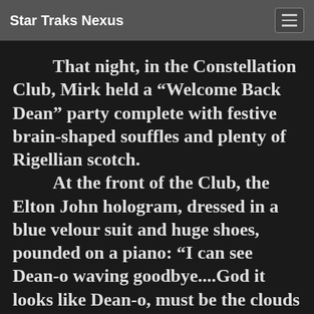Star Traks Nexus
That night, in the Constellation Club, Mirk held a “Welcome Back Dean” party complete with festive brain-shaped souffles and plenty of Rigellian scotch.
	At the front of the Club, the Elton John hologram, dressed in a blue velour suit and huge shoes, pounded on a piano: “I can see Dean-o waving goodbye....God it looks like Dean-o, must be the clouds in my eyes....they say Breen is pretty, though I’ve never been. Dean-o says